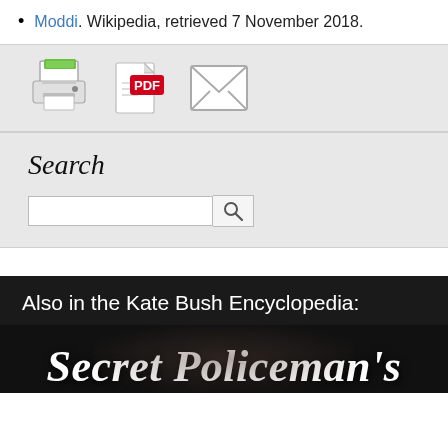Moddi. Wikipedia, retrieved 7 November 2018.
[Figure (infographic): Toolbar with print icon, PDF icon, and email/envelope icon on a grey background.]
[Figure (screenshot): Search widget with a cursive 'Search' label, a text input box, and a magnifying glass search button, on a grey background.]
Also in the Kate Bush Encyclopedia:
Secret Policeman's